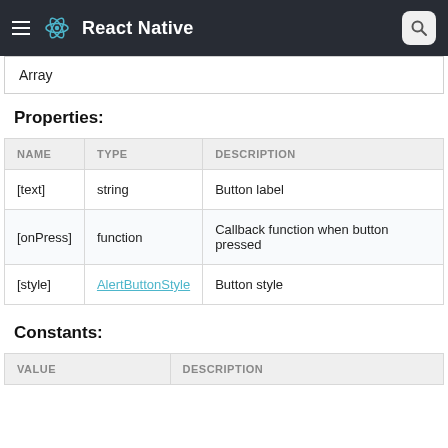React Native
| Array |
Properties:
| NAME | TYPE | DESCRIPTION |
| --- | --- | --- |
| [text] | string | Button label |
| [onPress] | function | Callback function when button pressed |
| [style] | AlertButtonStyle | Button style |
Constants:
| VALUE | DESCRIPTION |
| --- | --- |